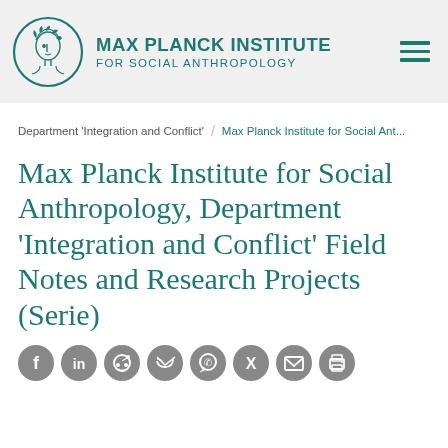MAX PLANCK INSTITUTE FOR SOCIAL ANTHROPOLOGY
Department 'Integration and Conflict' / Max Planck Institute for Social Ant...
Max Planck Institute for Social Anthropology, Department 'Integration and Conflict' Field Notes and Research Projects (Serie)
[Figure (other): Row of social media sharing icons: Facebook, LinkedIn, Reddit, Twitter, WhatsApp, Xing, Email, Print]